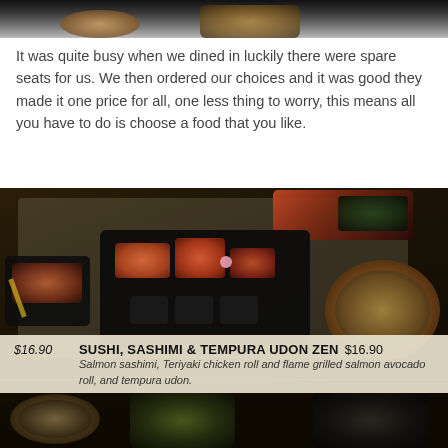[Figure (photo): Top portion of a food photo, dark background showing partial view of dishes]
It was quite busy when we dined in luckily there were spare seats for us. We then ordered our choices and it was good they made it one price for all, one less thing to worry, this means all you have to do is choose a food that you like.
[Figure (photo): Restaurant menu showing sushi, sashimi and tempura dishes on dark wooden background. Price $16.90 visible. Menu item: SUSHI, SASHIMI & TEMPURA UDON ZEN $16.90. Description: Salmon sashimi, Teriyaki chicken roll and flame grilled salmon avocado roll, and tempura udon.]